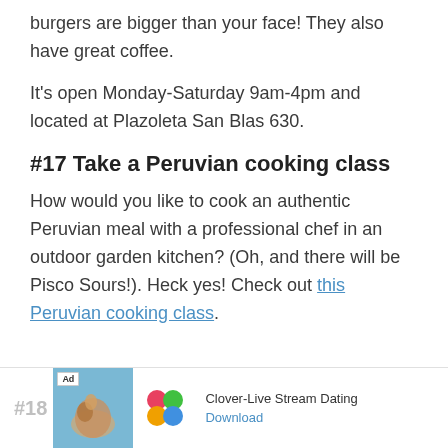burgers are bigger than your face! They also have great coffee.
It's open Monday-Saturday 9am-4pm and located at Plazoleta San Blas 630.
#17 Take a Peruvian cooking class
How would you like to cook an authentic Peruvian meal with a professional chef in an outdoor garden kitchen? (Oh, and there will be Pisco Sours!). Heck yes! Check out this Peruvian cooking class.
#18 Ad — Clover-Live Stream Dating — Download